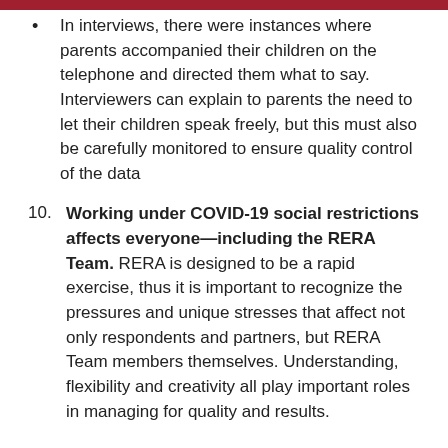In interviews, there were instances where parents accompanied their children on the telephone and directed them what to say. Interviewers can explain to parents the need to let their children speak freely, but this must also be carefully monitored to ensure quality control of the data
10. Working under COVID-19 social restrictions affects everyone—including the RERA Team. RERA is designed to be a rapid exercise, thus it is important to recognize the pressures and unique stresses that affect not only respondents and partners, but RERA Team members themselves. Understanding, flexibility and creativity all play important roles in managing for quality and results.